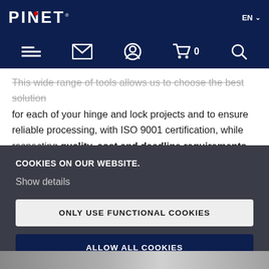[Figure (logo): PINET logo in white on dark navy background with red dot over the letter I, registration mark]
EN
[Figure (schematic): Navigation icon bar with hamburger menu, email envelope, user profile, shopping cart with count 0, and search icons on dark navy background]
This wide range of tools allows us to choose the best solution for each of your hinge and lock projects and to ensure reliable processing, with ISO 9001 certification, while respecting quality, cost and deadline requirements.
COOKIES ON OUR WEBSITE.
Show details
ONLY USE FUNCTIONAL COOKIES
ALLOW ALL COOKIES